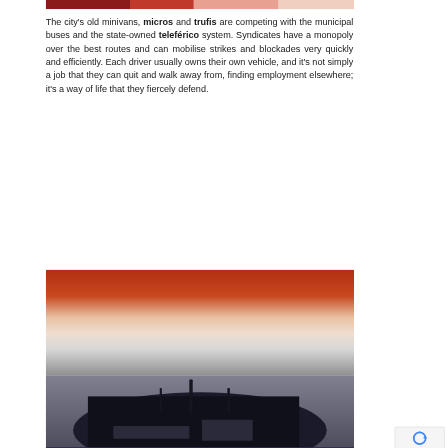[Figure (photo): Top portion of a photo showing red-colored scene, partially cropped at top of page]
The city's old minivans, micros and trufis are competing with the municipal buses and the state-owned teleférico system. Syndicates have a monopoly over the best routes and can mobilise strikes and blockades very quickly and efficiently. Each driver usually owns their own vehicle, and it's not simply a job that they can quit and walk away from, finding employment elsewhere; it's a way of life that they fiercely defend.
[Figure (photo): Bottom photo showing a dark silhouette scene with reddish sky, appears to be a vehicle dashboard or street scene shot from below]